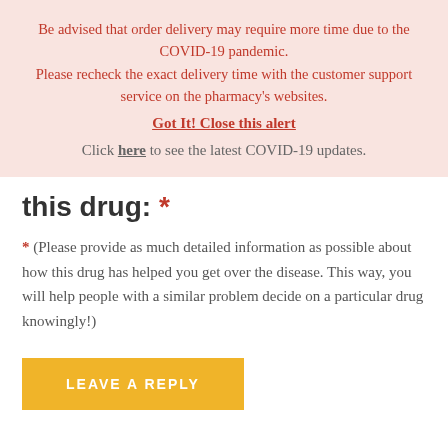Be advised that order delivery may require more time due to the COVID-19 pandemic. Please recheck the exact delivery time with the customer support service on the pharmacy's websites.
Got It! Close this alert
Click here to see the latest COVID-19 updates.
this drug: *
* (Please provide as much detailed information as possible about how this drug has helped you get over the disease. This way, you will help people with a similar problem decide on a particular drug knowingly!)
LEAVE A REPLY